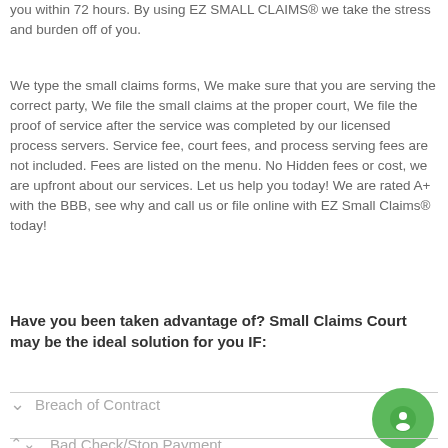you within 72 hours. By using EZ SMALL CLAIMS® we take the stress and burden off of you.
We type the small claims forms, We make sure that you are serving the correct party, We file the small claims at the proper court, We file the proof of service after the service was completed by our licensed process servers. Service fee, court fees, and process serving fees are not included. Fees are listed on the menu. No Hidden fees or cost, we are upfront about our services. Let us help you today! We are rated A+ with the BBB, see why and call us or file online with EZ Small Claims® today!
Have you been taken advantage of? Small Claims Court may be the ideal solution for you IF:
Breach of Contract
Bad Check/Stop Payment